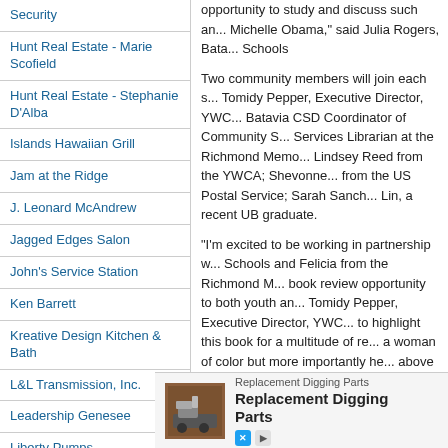Security
Hunt Real Estate - Marie Scofield
Hunt Real Estate - Stephanie D'Alba
Islands Hawaiian Grill
Jam at the Ridge
J. Leonard McAndrew
Jagged Edges Salon
John's Service Station
Ken Barrett
Kreative Design Kitchen & Bath
L&L Transmission, Inc.
Leadership Genesee
Liberty Pumps
Livia Beauty & Spa
Mama Chavez's Taqueria
Matteo
Mattre
opportunity to study and discuss such an... Michelle Obama," said Julia Rogers, Bata... Schools
Two community members will join each s... Tomidy Pepper, Executive Director, YWC... Batavia CSD Coordinator of Community S... Services Librarian at the Richmond Memo... Lindsey Reed from the YWCA; Shevonne... from the US Postal Service; Sarah Sanch... Lin, a recent UB graduate.
"I'm excited to be working in partnership w... Schools and Felicia from the Richmond M... book review opportunity to both youth an... Tomidy Pepper, Executive Director, YWC... to highlight this book for a multitude of re... a woman of color but more importantly he... above it and succeed at the highest level
Refreshments will be served. There are li... session. Attendees are encouraged to reg...
Participants can pick up the book in adva... Library in hardcover, larger print, ebook, o...
[Figure (other): Advertisement banner for Replacement Digging Parts with an image of digging equipment, text 'Replacement Digging Parts' and an Open button]